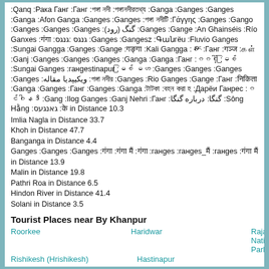:Qanq :Рака Ганг :Ганг :গঙ্গা নদী :গঙ্গানদীরতথ্য :Ganga :Ganges :Ganges :Ganga :Afon Ganga :Ganges :Ganges :গঙ্গা নদীটি :Γάγγης :Ganges :Gango :Ganges :Ganges :Ganges :(رود) گنگ :Ganges :Gange :An Ghainséis :Río Ganxes :गंगा :גנגס :גנגס :Ganges :Gangesz :Գանգёu :Fluvio Ganges :Sungai Gangga :Ganges :Gange :गङ्गा :Kali Gangga : གངྒཱ :Ганг :गञ्ज :க ள் :Ganj :Ganges :Ganges :Ganges :Ganga :Ganga :Ганг :ဂင်္ဂါ :မြစ် :Sungai Ganges :ганgestinapur :မြစ် မဟ :Ganges :Ganges :Ganges :Ganges :ویکیپدیا مقاله :গঙ্গা নদীর :Ganges :Rio Ganges :Gange :Ганг :निकिता :Ganga :Ganges :Ганг :Ganges :Ganga :টাটকা :বহন করা হ :Дарёи Ганрес :ဂင်ဂါနဒီ :Gang :Ilog Ganges :Ganj Nehri :Ганг :گنگا: درباره گنگا :Sông Hằng :גאנגעס :के in Distance 10.3
Imlia Nagla in Distance 33.7
Khoh in Distance 47.7
Banganga in Distance 4.4
Ganges :Ganges :Ganges :गंगा :गंगा मैं :गंगा :ганges :ганges_मैं :ганges :गंगा मैं in Distance 13.9
Malin in Distance 19.8
Pathri Roa in Distance 6.5
Hindon River in Distance 41.4
Solani in Distance 3.5
Tourist Places near By Khanpur
Roorkee
Haridwar
Rajaji National Park
Rishikesh (Hrishikesh)
Hastinapur
Khanpur Map